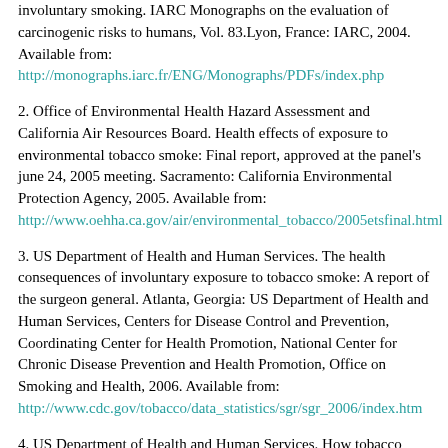involuntary smoking. IARC Monographs on the evaluation of carcinogenic risks to humans, Vol. 83. Lyon, France: IARC, 2004. Available from: http://monographs.iarc.fr/ENG/Monographs/PDFs/index.php
2. Office of Environmental Health Hazard Assessment and California Air Resources Board. Health effects of exposure to environmental tobacco smoke: Final report, approved at the panel's june 24, 2005 meeting. Sacramento: California Environmental Protection Agency, 2005. Available from: http://www.oehha.ca.gov/air/environmental_tobacco/2005etsfinal.html
3. US Department of Health and Human Services. The health consequences of involuntary exposure to tobacco smoke: A report of the surgeon general. Atlanta, Georgia: US Department of Health and Human Services, Centers for Disease Control and Prevention, Coordinating Center for Health Promotion, National Center for Chronic Disease Prevention and Health Promotion, Office on Smoking and Health, 2006. Available from: http://www.cdc.gov/tobacco/data_statistics/sgr/sgr_2006/index.htm
4. US Department of Health and Human Services. How tobacco smoke causes disease: The biology and behavioral basis for smoking-attributable disease. A report of the Surgeon General, Atlanta, Georgia: U.S. Department of Health and Human Services, Centers for Disease Control and Prevention, National Center for Chronic Disease Prevention and Health Promotion, Office on Smoking and Health, 2010. Available